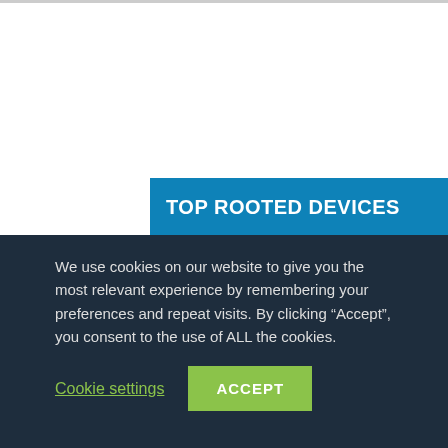TOP ROOTED DEVICES
Root Samsung Galaxy S10
Root Samsung Galaxy S10+
Root Samsung Galaxy S20
Root Samsung Galaxy S20+
Root OnePlus 7T
Root OnePlus 7
Root OnePlus 6T
We use cookies on our website to give you the most relevant experience by remembering your preferences and repeat visits. By clicking “Accept”, you consent to the use of ALL the cookies.
Cookie settings  ACCEPT